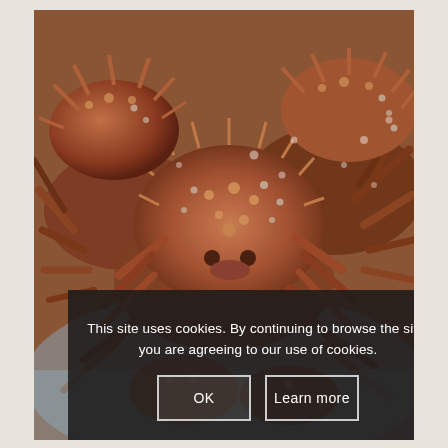[Figure (photo): Close-up photograph of multiple spiny/spider crabs piled on top of each other on a light blue-grey surface. The crabs are reddish-brown with spiny shells and barnacle-encrusted carapaces.]
This site uses cookies. By continuing to browse the site, you are agreeing to our use of cookies.
OK
Learn more